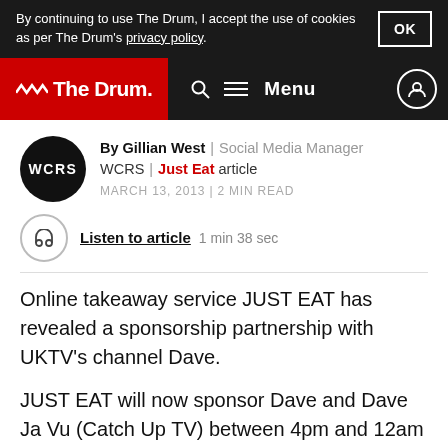By continuing to use The Drum, I accept the use of cookies as per The Drum's privacy policy.   OK
The Drum   Search   Menu
By Gillian West | Social Media Manager
WCRS | Just Eat article
MARCH 13, 2013 | 2 MIN READ
Listen to article  1 min 38 sec
Online takeaway service JUST EAT has revealed a sponsorship partnership with UKTV's channel Dave.
JUST EAT will now sponsor Dave and Dave Ja Vu (Catch Up TV) between 4pm and 12am every